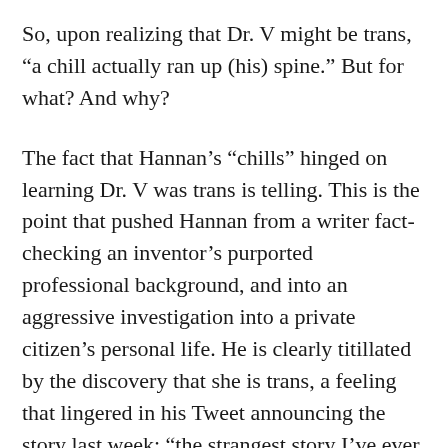So, upon realizing that Dr. V might be trans, “a chill actually ran up (his) spine.” But for what? And why?
The fact that Hannan’s “chills” hinged on learning Dr. V was trans is telling. This is the point that pushed Hannan from a writer fact-checking an inventor’s purported professional background, and into an aggressive investigation into a private citizen’s personal life. He is clearly titillated by the discovery that she is trans, a feeling that lingered in his Tweet announcing the story last week: “the strangest story I’ve ever worked on,” he called it.